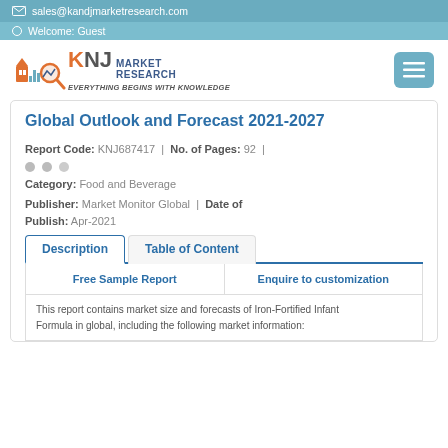sales@kandjmarketresearch.com
Welcome: Guest
[Figure (logo): KNJ Market Research logo with tagline 'Everything Begins with Knowledge']
Global Outlook and Forecast 2021-2027
Report Code: KNJ687417 | No. of Pages: 92 |
Category: Food and Beverage
Publisher: Market Monitor Global | Date of Publish: Apr-2021
Description | Table of Content
Free Sample Report | Enquire to customization
This report contains market size and forecasts of Iron-Fortified Infant Formula in global, including the following market information: